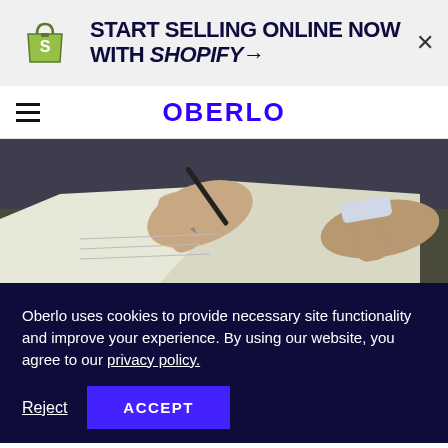[Figure (logo): Shopify ad banner with green shopping bag logo and text 'START SELLING ONLINE NOW WITH SHOPIFY →' and a close X button]
OBERLO
[Figure (photo): Close-up photo of hands signing a document with a pen on a desk]
Oberlo uses cookies to provide necessary site functionality and improve your experience. By using our website, you agree to our privacy policy.
Reject   ACCEPT